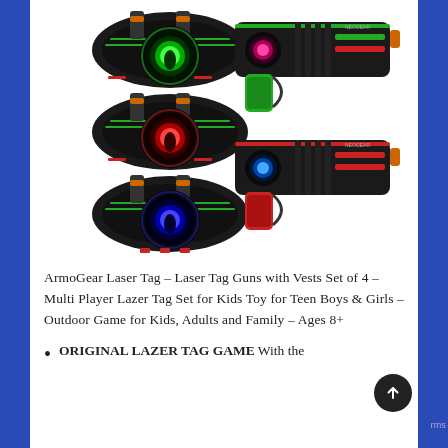[Figure (photo): Product photo of ArmoGear Laser Tag set showing 3 vest targets on the left (with green, red, and blue glowing eye sensors) and 2 laser tag guns on the right (one green and one red/blue colored), all in black with colorful accents, on a white background]
ArmoGear Laser Tag – Laser Tag Guns with Vests Set of 4 – Multi Player Lazer Tag Set for Kids Toy for Teen Boys & Girls – Outdoor Game for Kids, Adults and Family – Ages 8+
ORIGINAL LAZER TAG GAME With the